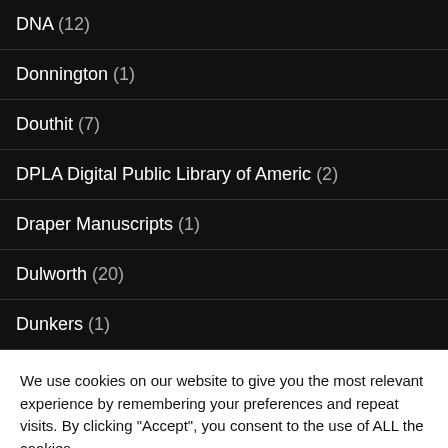DNA (12)
Donnington (1)
Douthit (7)
DPLA Digital Public Library of Americ (2)
Draper Manuscripts (1)
Dulworth (20)
Dunkers (1)
We use cookies on our website to give you the most relevant experience by remembering your preferences and repeat visits. By clicking “Accept”, you consent to the use of ALL the cookies.
Do not sell my personal information.
Cookie settings  ACCEPT